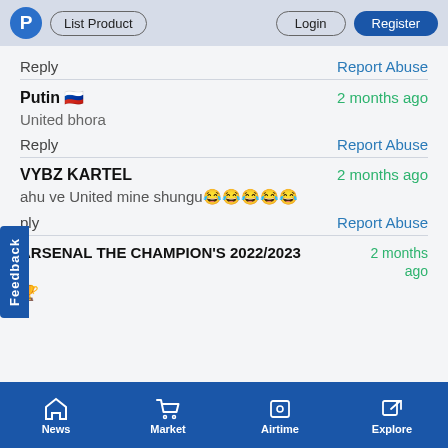P  List Product  Login  Register
Reply                                Report Abuse
Putin 🇷🇺  2 months ago
United bhora
Reply                                Report Abuse
VYBZ KARTEL  2 months ago
ahu ve United mine shungu😂😂😂😂😂
Reply                                Report Abuse
ARSENAL THE CHAMPION'S 2022/2023 🏆  2 months ago
News  Market  Airtime  Explore